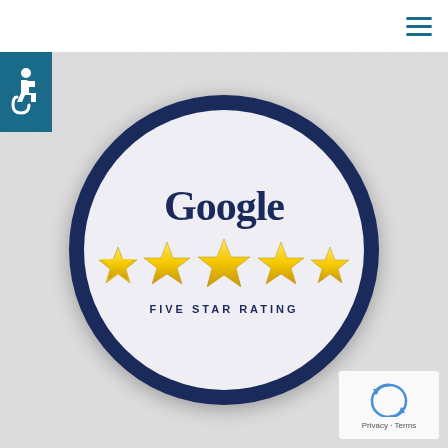Navigation menu (hamburger icon)
[Figure (logo): Accessibility icon - wheelchair symbol in white on blue square background]
[Figure (illustration): Google Five Star Rating badge - circular badge with dark navy border, 'Google' text in navy, five gold 3D stars, and 'FIVE STAR RATING' text in navy capital letters]
[Figure (other): reCAPTCHA widget with circular arrow logo and 'Privacy - Terms' text]